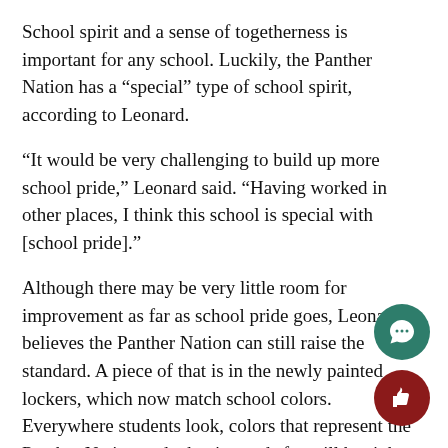School spirit and a sense of togetherness is important for any school. Luckily, the Panther Nation has a “special” type of school spirit, according to Leonard.
“It would be very challenging to build up more school pride,” Leonard said. “Having worked in other places, I think this school is special with [school pride].”
Although there may be very little room for improvement as far as school pride goes, Leonard believes the Panther Nation can still raise the standard. A piece of that is in the newly painted lockers, which now match school colors. Everywhere students look, colors that represent the Panther Nation and what it stands for will be right there. Leonard also calls on more students to turn up to sporting events as a way to support our athletic programs.
Lastly, Leonard wants to leave a legacy of progression